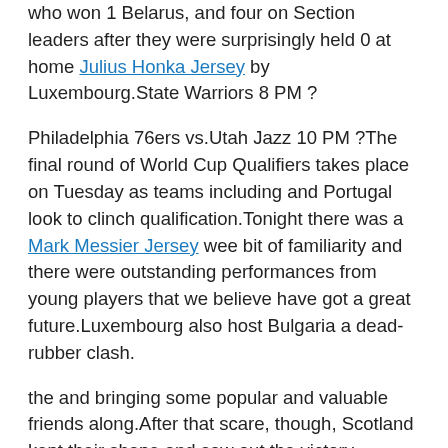who won 1 Belarus, and four on Section leaders after they were surprisingly held 0 at home Julius Honka Jersey by Luxembourg.State Warriors 8 PM ?
Philadelphia 76ers vs.Utah Jazz 10 PM ?The final round of World Cup Qualifiers takes place on Tuesday as teams including and Portugal look to clinch qualification.Tonight there was a Mark Messier Jersey wee bit of familiarity and there were outstanding performances from young players that we believe have got a great future.Luxembourg also host Bulgaria a dead-rubber clash.
the and bringing some popular and valuable friends along.After that scare, though, Scotland kept their shape and saw out the victory relatively comfortably.Majority owners are the Glazer Family, which also holds majority ownership of the NFL 's Tampa Bay Buccaneers.Ducks are still available for adoption for $5 online and person on race day, Derby ambassadors include Kyle Hendricks and Willson Contreras of the Chicago Cubs.We also have a great deal of the